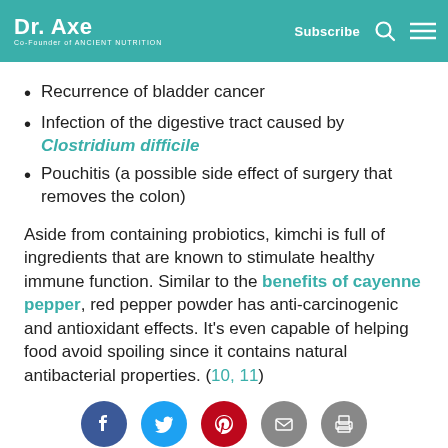Dr. Axe | Subscribe
Recurrence of bladder cancer
Infection of the digestive tract caused by Clostridium difficile
Pouchitis (a possible side effect of surgery that removes the colon)
Aside from containing probiotics, kimchi is full of ingredients that are known to stimulate healthy immune function. Similar to the benefits of cayenne pepper, red pepper powder has anti-carcinogenic and antioxidant effects. It’s even capable of helping food avoid spoiling since it contains natural antibacterial properties. (10, 11)
[Figure (infographic): Social media sharing icons: Facebook, Twitter, Pinterest, Email, Print]